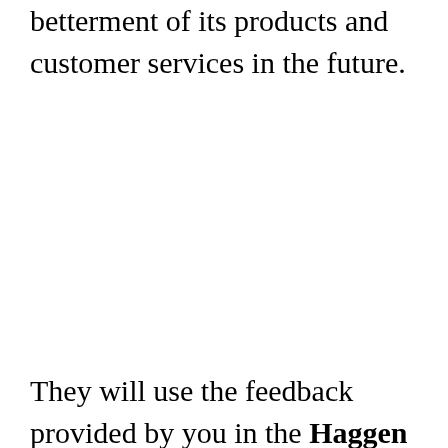betterment of its products and customer services in the future.
They will use the feedback provided by you in the Haggen Guest Experience Survey to address the